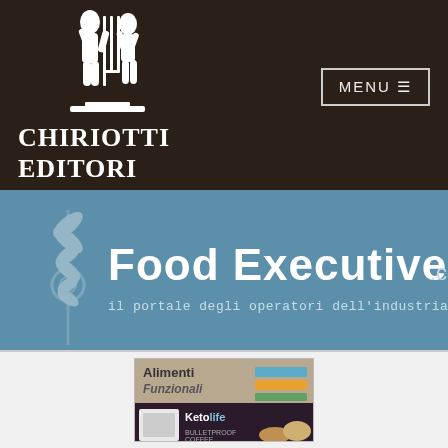[Figure (logo): Chiriotti Editori logo: two white child silhouettes on dark brown background with brand name text]
CHIRIOTTI EDITORI
[Figure (logo): Food Executive .com banner on steel blue background with wheat-gear icon watermark and tagline 'il portale degli operatori dell'industria alimentare']
[Figure (photo): Two magazine/product images: Alimenti Funzionali magazine cover and Keto Life Bulletproof Coffee product display]